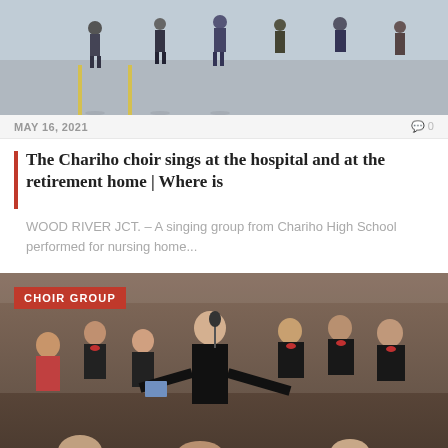[Figure (photo): Outdoor photo of people socially distanced, likely a choir performing outdoors on pavement with yellow lines visible]
MAY 16, 2021
0
The Chariho choir sings at the hospital and at the retirement home | Where is
WOOD RIVER JCT. – A singing group from Chariho High School performed for nursing home...
[Figure (photo): Indoor choir group performing, woman soloist at microphone in black outfit, choir members behind in formal attire with red bow ties]